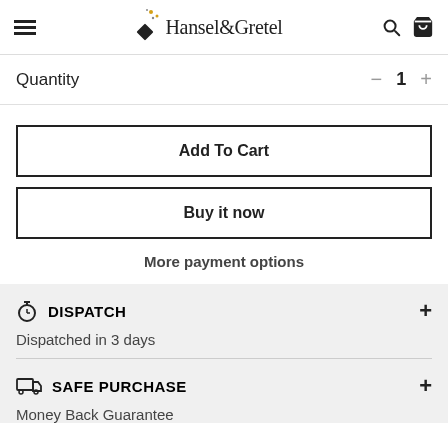Hansel & Gretel
Quantity — 1
Add To Cart
Buy it now
More payment options
DISPATCH
Dispatched in 3 days
SAFE PURCHASE
Money Back Guarantee